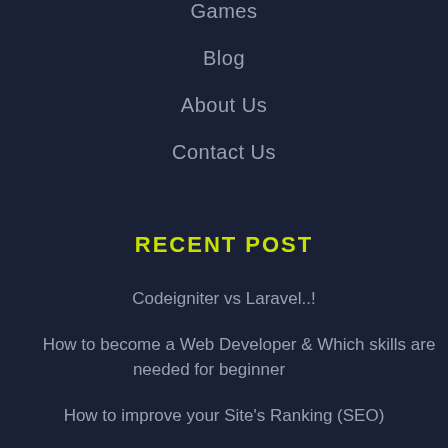Games
Blog
About Us
Contact Us
RECENT POST
Codeigniter vs Laravel..!
How to become a Web Developer & Which skills are needed for beginner
How to improve your Site's Ranking (SEO)